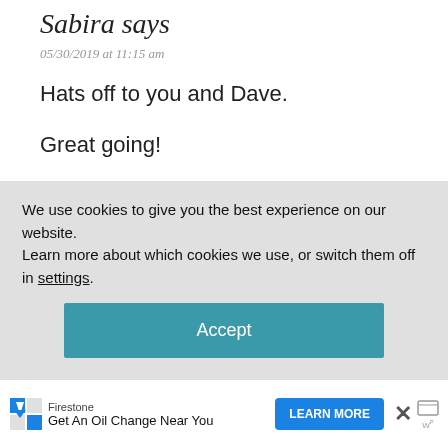Sabira says
05/30/2019 at 11:15 am
Hats off to you and Dave.
Great going!
All the best..
We use cookies to give you the best experience on our website.
Learn more about which cookies we use, or switch them off in settings.
Accept
Firestone
Get An Oil Change Near You
LEARN MORE